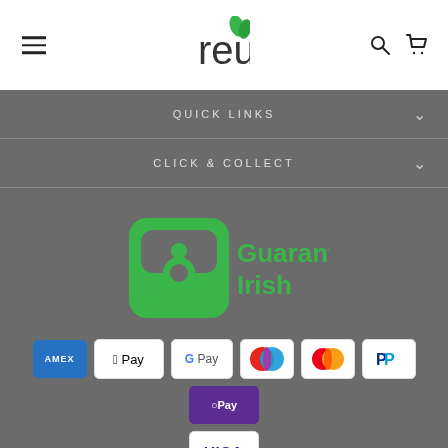[Figure (logo): Reuzi logo with green leaves icon and hamburger menu, search and cart icons in header]
QUICK LINKS
CLICK & COLLECT
[Figure (logo): Guaranteed Irish logo - green stylized 'gi' icon with text 'Guaranteed Irish' in green]
[Figure (infographic): Payment method icons: American Express, Apple Pay, Google Pay, Maestro, Mastercard, PayPal, Shop Pay, Visa]